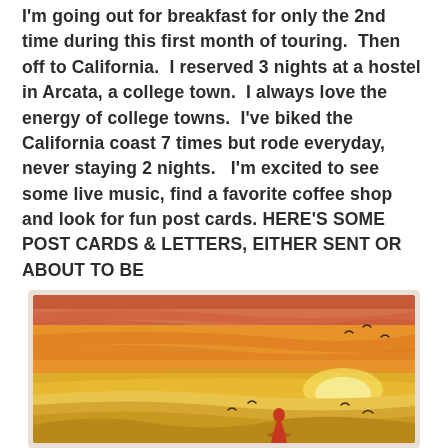I'm going out for breakfast for only the 2nd time during this first month of touring. Then off to California. I reserved 3 nights at a hostel in Arcata, a college town. I always love the energy of college towns. I've biked the California coast 7 times but rode everyday, never staying 2 nights. I'm excited to see some live music, find a favorite coffee shop and look for fun post cards. HERE'S SOME POST CARDS & LETTERS, EITHER SENT OR ABOUT TO BE
[Figure (illustration): Illustration of a beach sunset scene with warm orange and golden sky, sandy dunes, birds flying, and a red-clad figure in the foreground. Rendered in a flat vector art style.]